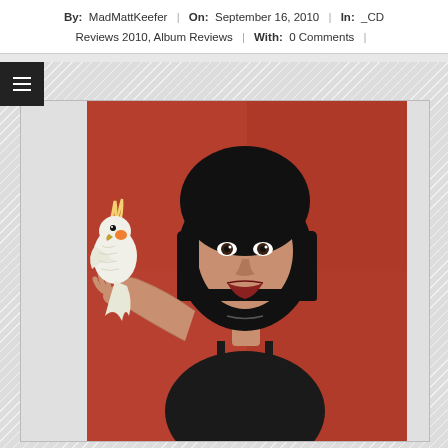By: MadMattKeefer | On: September 16, 2010 | In: _CD Reviews 2010, Album Reviews | With: 0 Comments |
[Figure (photo): A woman with a black bob haircut holding a white cockatiel/parrot on her hand, against a reddish-orange background, wearing a dark strappy top]